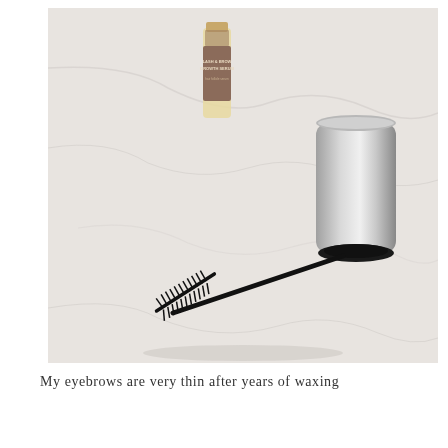[Figure (photo): Photo of a mascara wand with a silver cylindrical tube cap lying on a white marble surface, next to a small bottle labeled 'LASH & BROW GROWTH SERUM'.]
My eyebrows are very thin after years of waxing